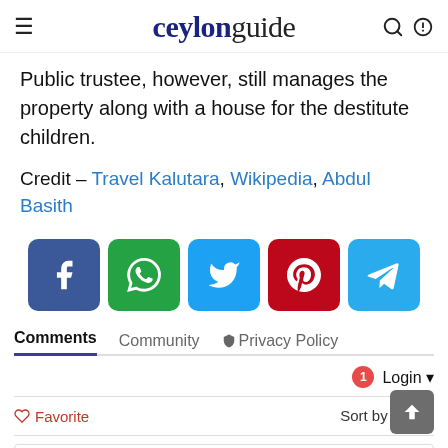ceylonguide
Public trustee, however, still manages the property along with a house for the destitute children.
Credit – Travel Kalutara, Wikipedia, Abdul Basith
[Figure (infographic): Row of five social media share buttons: Facebook (blue), WhatsApp (green), Twitter (light blue), Pinterest (red), Telegram (blue)]
Comments  Community  Privacy Policy
1 Login
Favorite   Sort by Best
Start the discussion...